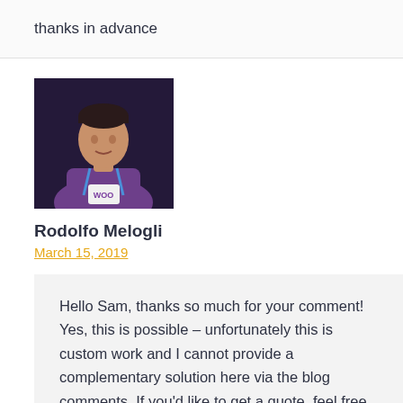thanks in advance
[Figure (photo): Profile photo of Rodolfo Melogli, a man wearing a purple shirt with a blue lanyard badge that reads 'WOO']
Rodolfo Melogli
March 15, 2019
Hello Sam, thanks so much for your comment! Yes, this is possible – unfortunately this is custom work and I cannot provide a complementary solution here via the blog comments. If you'd like to get a quote, feel free to contact me here. Thanks a lot for your